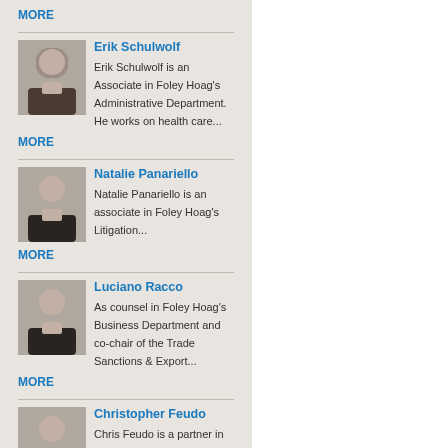MORE
Erik Schulwolf
Erik Schulwolf is an Associate in Foley Hoag's Administrative Department. He works on health care...
MORE
Natalie Panariello
Natalie Panariello is an associate in Foley Hoag's Litigation...
MORE
Luciano Racco
As counsel in Foley Hoag's Business Department and co-chair of the Trade Sanctions & Export...
MORE
Christopher Feudo
Chris Feudo is a partner in the firm's Litigation Department and a member of the Labor &...